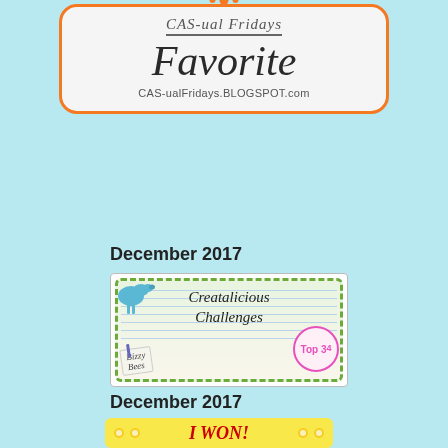[Figure (logo): CAS-ual Fridays Favorite badge with orange border, rounded rectangle, orange dot decoration at top, text 'CAS-ual Fridays' in italic serif and 'Favorite' in large italic serif, URL 'CAS-ualFridays.BLOGSPOT.com' at bottom]
December 2017
[Figure (logo): Creatalicious Challenges Top 3 (4) badge with green dotted border frame, blue bird top left, handwritten style text 'Creatalicious Challenges', pink 'Top 3 4' badge, 'Bizzy Bees' tag, floral decoration]
December 2017
[Figure (logo): I WON! banner in red letters on gold/yellow floral daisy chain decorative background]